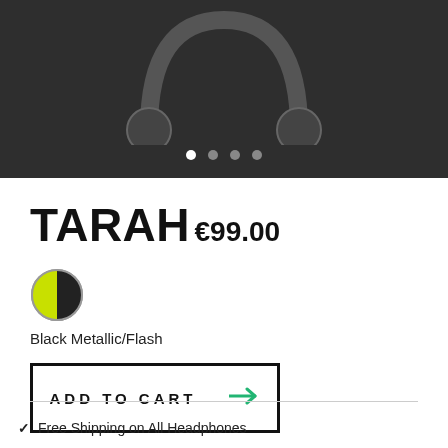[Figure (photo): Product image of TARAH headphones on dark background with carousel dots below]
TARAH
€99.00
[Figure (illustration): Color swatch circle: Black Metallic/Flash (black and yellow-green split circle with border)]
Black Metallic/Flash
ADD TO CART →
Free Shipping on All Headphones